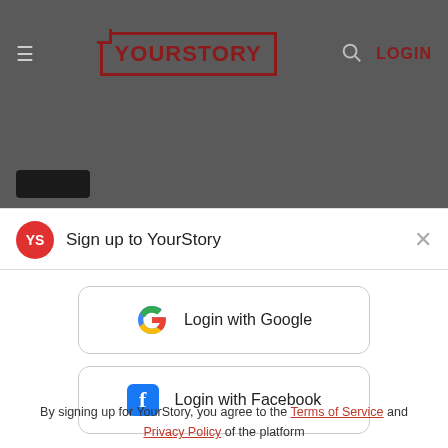YourStory — LOGIN
[Figure (screenshot): Dark grey image/banner area with a small black button at bottom left]
Sign up to YourStory
[Figure (other): Login with Google button — rounded rectangle with Google G logo]
[Figure (other): Login with Facebook button — rounded rectangle with Facebook f logo]
By signing up for YourStory, you agree to the Terms of Service and Privacy Policy of the platform